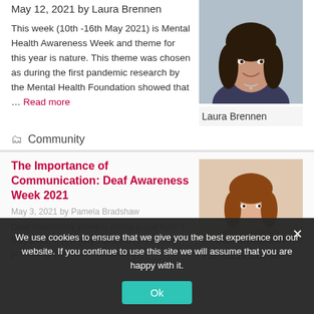May 12, 2021 by Laura Brennen
This week (10th -16th May 2021) is Mental Health Awareness Week and theme for this year is nature. This theme was chosen as during the first pandemic research by the Mental Health Foundation showed that … Read more
[Figure (photo): Portrait photo of Laura Brennen, a woman with long dark hair, smiling]
Laura Brennen
Community
The Importance of Communication: Deaf Awareness Week 2021
May 3, 2021 by Pamela Bradshaw
Deaf Awareness Week is taking place from 3 May 2021 until 9 May 2021 with the aim of promoting the positive aspects of
[Figure (photo): Portrait photo of Pamela Bradshaw]
Pamela Bradshaw
We use cookies to ensure that we give you the best experience on our website. If you continue to use this site we will assume that you are happy with it.